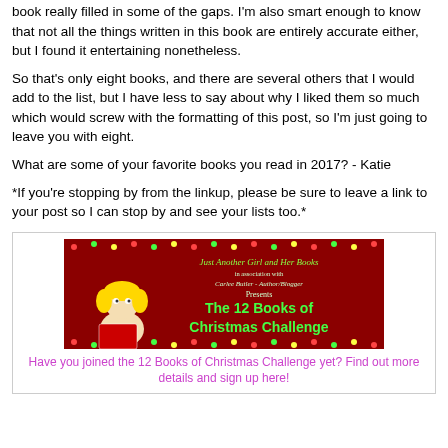book really filled in some of the gaps. I'm also smart enough to know that not all the things written in this book are entirely accurate either, but I found it entertaining nonetheless.
So that's only eight books, and there are several others that I would add to the list, but I have less to say about why I liked them so much which would screw with the formatting of this post, so I'm just going to leave you with eight.
What are some of your favorite books you read in 2017? - Katie
*If you're stopping by from the linkup, please be sure to leave a link to your post so I can stop by and see your lists too.*
[Figure (illustration): Promotional banner for 'The 12 Books of Christmas Challenge' by Just Another Girl and Her Books in association with Carlee Butler - Author/Blogger. Dark red background with cartoon girl reading a book, string lights, and green text.]
Have you joined the 12 Books of Christmas Challenge yet? Find out more details and sign up here!